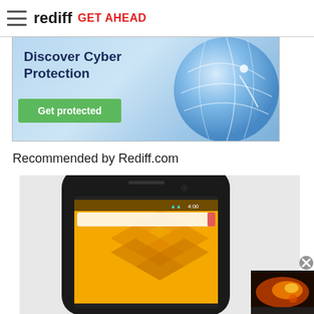rediff GET AHEAD
[Figure (screenshot): Advertisement banner: Discover Cyber Protection with 'Get protected' green button and blue globe graphic]
Recommended by Rediff.com
[Figure (photo): Close-up of a black smartphone (Nexus 4) showing the front screen with orange/yellow wallpaper]
[Figure (photo): Small thumbnail image in corner showing a dark orange/flame image, with close (X) button]